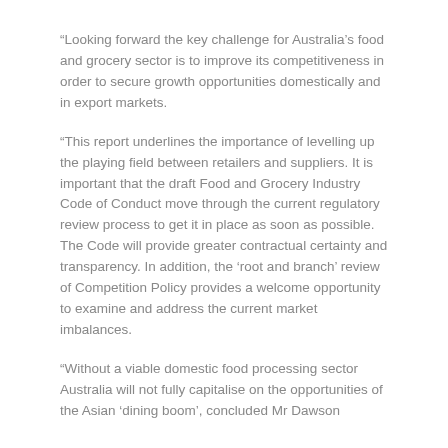“Looking forward the key challenge for Australia’s food and grocery sector is to improve its competitiveness in order to secure growth opportunities domestically and in export markets.
“This report underlines the importance of levelling up the playing field between retailers and suppliers. It is important that the draft Food and Grocery Industry Code of Conduct move through the current regulatory review process to get it in place as soon as possible. The Code will provide greater contractual certainty and transparency. In addition, the ‘root and branch’ review of Competition Policy provides a welcome opportunity to examine and address the current market imbalances.
“Without a viable domestic food processing sector Australia will not fully capitalise on the opportunities of the Asian ‘dining boom’, concluded Mr Dawson